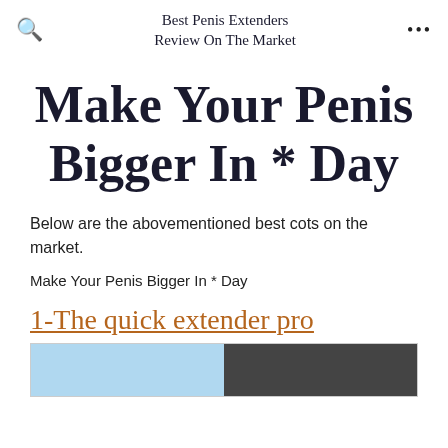Best Penis Extenders Review On The Market
Make Your Penis Bigger In * Day
Below are the abovementioned best cots on the market.
Make Your Penis Bigger In * Day
1-The quick extender pro
[Figure (photo): Two product images side by side at the bottom of the page, partially visible.]